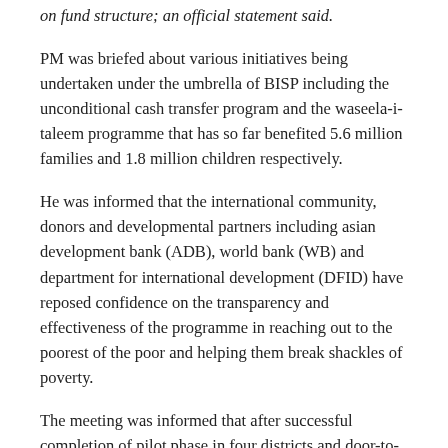on fund structure; an official statement said.
PM was briefed about various initiatives being undertaken under the umbrella of BISP including the unconditional cash transfer program and the waseela-i-taleem programme that has so far benefited 5.6 million families and 1.8 million children respectively.
He was informed that the international community, donors and developmental partners including asian development bank (ADB), world bank (WB) and department for international development (DFID) have reposed confidence on the transparency and effectiveness of the programme in reaching out to the poorest of the poor and helping them break shackles of poverty.
The meeting was informed that after successful completion of pilot phase in four districts and door-to-door survey in 10 districts, national socio-economic registry (NSER) survey will be rolled out in the remaining districts of the country in February 2018 and will be completed by May 2018.